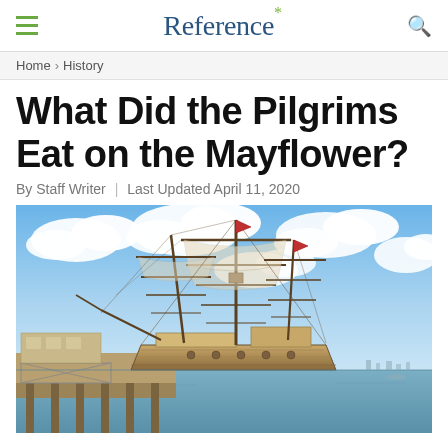Reference*
Home › History
What Did the Pilgrims Eat on the Mayflower?
By Staff Writer | Last Updated April 11, 2020
[Figure (photo): A tall sailing ship (replica of the Mayflower) docked at a pier, with blue sky and white clouds in the background and calm harbor water.]